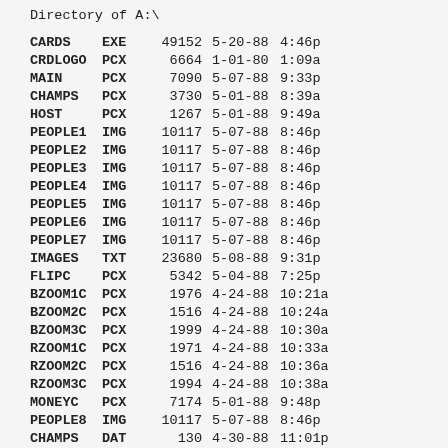Directory of  A:\
| Name | Ext | Size | Date | Time |
| --- | --- | --- | --- | --- |
| CARDS | EXE | 49152 | 5-20-88 | 4:46p |
| CRDLOGO | PCX | 6664 | 1-01-80 | 1:09a |
| MAIN | PCX | 7090 | 5-07-88 | 9:33p |
| CHAMPS | PCX | 3730 | 5-01-88 | 8:39a |
| HOST | PCX | 1267 | 5-01-88 | 9:49a |
| PEOPLE1 | IMG | 10117 | 5-07-88 | 8:46p |
| PEOPLE2 | IMG | 10117 | 5-07-88 | 8:46p |
| PEOPLE3 | IMG | 10117 | 5-07-88 | 8:46p |
| PEOPLE4 | IMG | 10117 | 5-07-88 | 8:46p |
| PEOPLE5 | IMG | 10117 | 5-07-88 | 8:46p |
| PEOPLE6 | IMG | 10117 | 5-07-88 | 8:46p |
| PEOPLE7 | IMG | 10117 | 5-07-88 | 8:46p |
| IMAGES | TXT | 23680 | 5-08-88 | 9:31p |
| FLIPC | PCX | 5342 | 5-04-88 | 7:25p |
| BZOOM1C | PCX | 1976 | 4-24-88 | 10:21a |
| BZOOM2C | PCX | 1516 | 4-24-88 | 10:24a |
| BZOOM3C | PCX | 1999 | 4-24-88 | 10:30a |
| RZOOM1C | PCX | 1971 | 4-24-88 | 10:33a |
| RZOOM2C | PCX | 1516 | 4-24-88 | 10:36a |
| RZOOM3C | PCX | 1994 | 4-24-88 | 10:38a |
| MONEYC | PCX | 7174 | 5-01-88 | 9:48p |
| PEOPLE8 | IMG | 10117 | 5-07-88 | 8:46p |
| CHAMPS | DAT | 130 | 4-30-88 | 11:01p |
| DIRECT1 | DAT | 2186 | 5-07-88 | 11:32p |